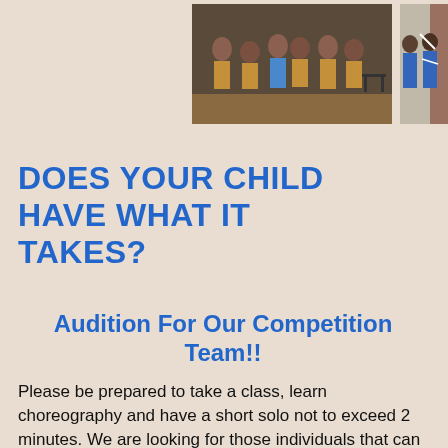[Figure (photo): Group of children in brown/tan cultural dance costumes posing together in front of a dark wall, one child holding a certificate]
[Figure (photo): Children in blue costumes performing outside near a brick building]
DOES YOUR CHILD HAVE WHAT IT TAKES?
Audition For Our Competition Team!!
Please be prepared to take a class, learn choreography and have a short solo not to exceed 2 minutes. We are looking for those individuals that can quickly learn